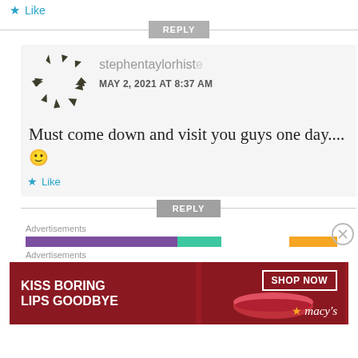Like
REPLY
stephentaylorhisto
MAY 2, 2021 AT 8:37 AM
Must come down and visit you guys one day.... 🙂
Like
REPLY
Advertisements
Advertisements
KISS BORING LIPS GOODBYE   SHOP NOW  macys